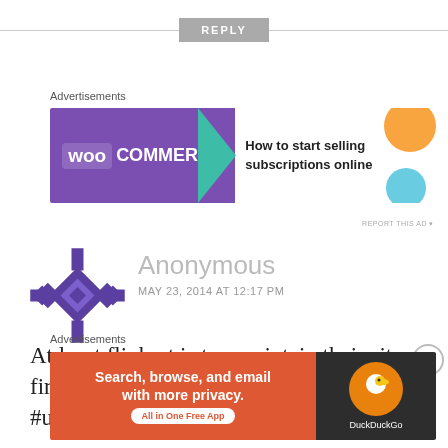REPLY
[Figure (screenshot): WooCommerce advertisement banner: purple left side with WooCommerce logo, teal arrow, white right side reading 'How to start selling subscriptions online' with orange and blue decorative blobs]
[Figure (illustration): Anonymous user avatar — purple geometric star/snowflake pattern]
Anonymous
MAY 23, 2014 AT 12:17 PM
At least flipkart is too maintain their site first, stupid ordering features. #unmanageable #Stupidity
[Figure (screenshot): DuckDuckGo advertisement: orange/red background with text 'Search, browse, and email with more privacy. All in One Free App' and DuckDuckGo logo on dark right panel]